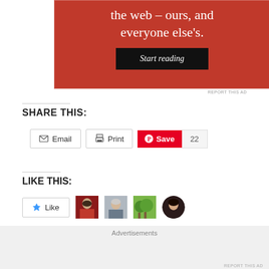[Figure (other): Red advertisement banner with white serif text reading 'the web – ours, and everyone else's.' and a dark 'Start reading' button]
REPORT THIS AD
SHARE THIS:
Email | Print | Save (22)
LIKE THIS:
Like | 4 blogger avatars
4 bloggers like this.
Advertisements
REPORT THIS AD